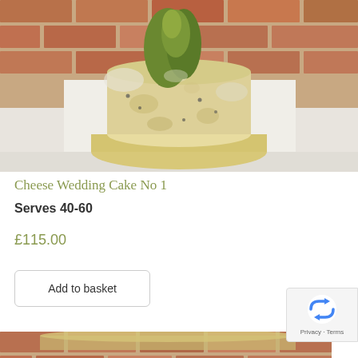[Figure (photo): Photo of a Cheese Wedding Cake tiered cake made from wheels of cheese, decorated with herbs on top, displayed on a wooden board against a brick wall background]
Cheese Wedding Cake No 1
Serves 40-60
£115.00
Add to basket
[Figure (photo): Partial photo of the bottom of a cheese wheel against a brick wall, partially visible at the bottom of the page]